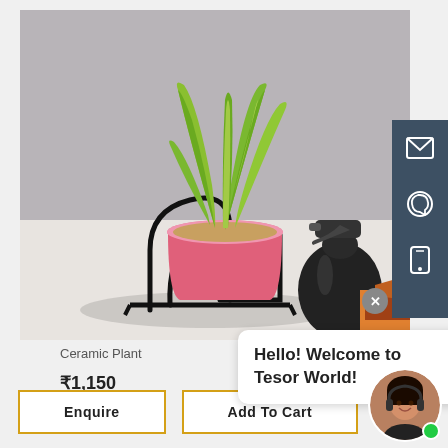[Figure (photo): A pink ceramic plant pot on a black metal arch stand, holding a snake plant (Sansevieria), with a black spray bottle beside it on a white surface, against a gray background.]
Ceramic Plant
₹1,150
Hello! Welcome to Tesor World!
Enquire
Add To Cart